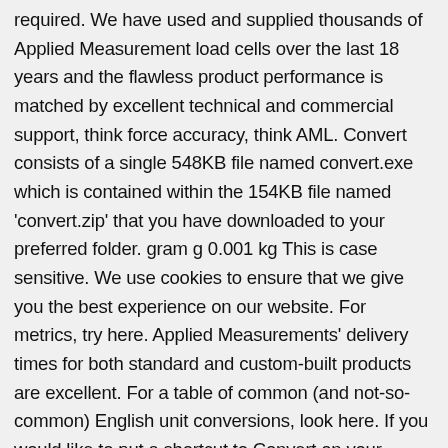required. We have used and supplied thousands of Applied Measurement load cells over the last 18 years and the flawless product performance is matched by excellent technical and commercial support, think force accuracy, think AML. Convert consists of a single 548KB file named convert.exe which is contained within the 154KB file named 'convert.zip' that you have downloaded to your preferred folder. gram g 0.001 kg This is case sensitive. We use cookies to ensure that we give you the best experience on our website. For metrics, try here. Applied Measurements' delivery times for both standard and custom-built products are excellent. For a table of common (and not-so-common) English unit conversions, look here. If you would like to put a shortcut to Convert on your desktop for easy access, right-click the  icon, then left-click 'Send To' followed by 'Desktop (create shortcut)' and that's it! Engineering Conversion Factors. 1 a = 0.024711 ac (Int) = 1076.39 sq ft = 100 m 2 = 3.86102x10 -5 sq mi = 119.599 sq yd. Everyone in our Applied Measurements office has this engineering unit conversion calculator on their computer. First convert the number of feet between p and then connect the